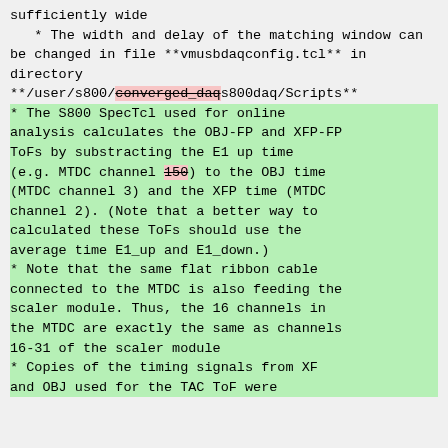sufficiently wide
* The width and delay of the matching window can be changed in file **vmusbdaqconfig.tcl** in directory **/user/s800/converged_daqs800daq/Scripts**
* The S800 SpecTcl used for online analysis calculates the OBJ-FP and XFP-FP ToFs by substracting the E1 up time (e.g. MTDC channel 150) to the OBJ time (MTDC channel 3) and the XFP time (MTDC channel 2). (Note that a better way to calculated these ToFs should use the average time E1_up and E1_down.)
* Note that the same flat ribbon cable connected to the MTDC is also feeding the scaler module. Thus, the 16 channels in the MTDC are exactly the same as channels 16-31 of the scaler module
* Copies of the timing signals from XF and OBJ used for the TAC ToF were